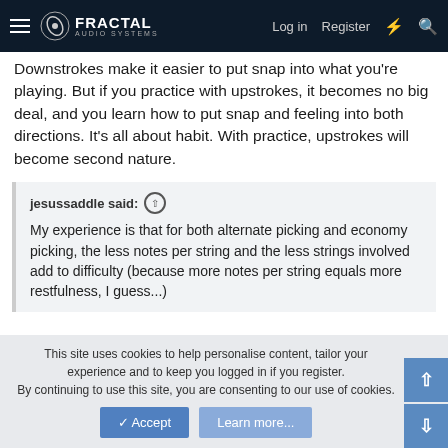Fractal Audio Systems — Log in  Register
Downstrokes make it easier to put snap into what you're playing. But if you practice with upstrokes, it becomes no big deal, and you learn how to put snap and feeling into both directions. It's all about habit. With practice, upstrokes will become second nature.
jesussaddle said: My experience is that for both alternate picking and economy picking, the less notes per string and the less strings involved add to difficulty (because more notes per string equals more restfulness, I guess...)
I totally get what you're saying about single-string picking being easier than multi-string picking, and even moreso when you
This site uses cookies to help personalise content, tailor your experience and to keep you logged in if you register. By continuing to use this site, you are consenting to our use of cookies.